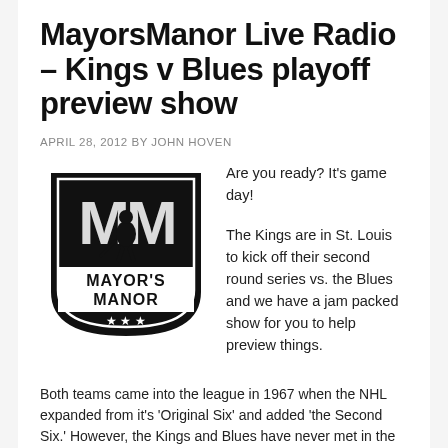MayorsManor Live Radio – Kings v Blues playoff preview show
APRIL 28, 2012 BY JOHN HOVEN
[Figure (logo): Mayor's Manor logo — black shield with 'MM' letters and a hockey player silhouette, 'MAYOR'S MANOR' text and three stars at bottom]
Are you ready?  It's game day!

The Kings are in St. Louis to kick off their second round series vs. the Blues and we have a jam packed show for you to help preview things.
Both teams came into the league in 1967 when the NHL expanded from it's 'Original Six' and added 'the Second Six.' However, the Kings and Blues have never met in the playoff...